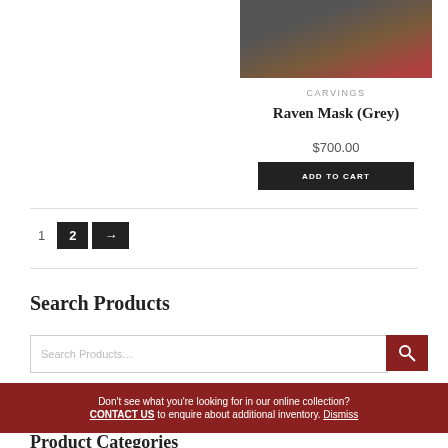[Figure (photo): Photo of a carved Raven Mask (Grey) showing feathery/straw-like material with dark red and black carved elements against a grey background]
CARVINGS
Raven Mask (Grey)
$700.00
ADD TO CART
1 2 →
Search Products
Search Products…
Don't see what you're looking for in our online collection? CONTACT US to enquire about additional inventory. Dismiss
Product Categories